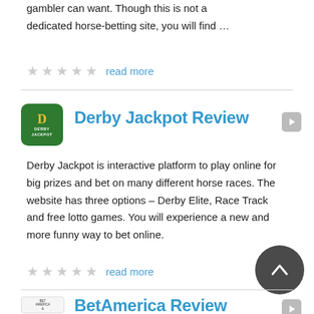gambler can want. Though this is not a dedicated horse-betting site, you will find …
★★★★★  read more
Derby Jackpot Review
Derby Jackpot is interactive platform to play online for big prizes and bet on many different horse races. The website has three options – Derby Elite, Race Track and free lotto games. You will experience a new and more funny way to bet online.
★★★★★  read more
BetAmerica Review